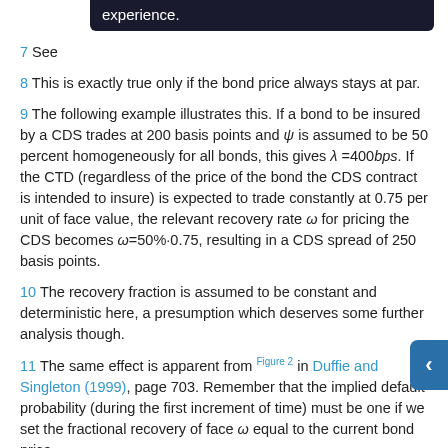7 See [tooltip: experience.]
8 This is exactly true only if the bond price always stays at par.
9 The following example illustrates this. If a bond to be insured by a CDS trades at 200 basis points and ψ is assumed to be 50 percent homogeneously for all bonds, this gives λ =400bps. If the CTD (regardless of the price of the bond the CDS contract is intended to insure) is expected to trade constantly at 0.75 per unit of face value, the relevant recovery rate ω for pricing the CDS becomes ω=50%·0.75, resulting in a CDS spread of 250 basis points.
10 The recovery fraction is assumed to be constant and deterministic here, a presumption which deserves some further analysis though.
11 The same effect is apparent from Figure 2 in Duffie and Singleton (1999), page 703. Remember that the implied default probability (during the first increment of time) must be one if we set the fractional recovery of face ω equal to the current bond price.